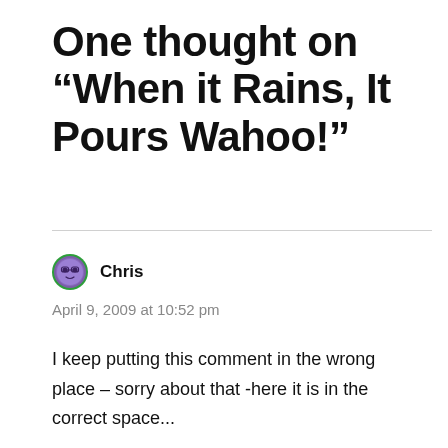One thought on “When it Rains, It Pours Wahoo!”
Chris
April 9, 2009 at 10:52 pm
I keep putting this comment in the wrong place – sorry about that -here it is in the correct space...